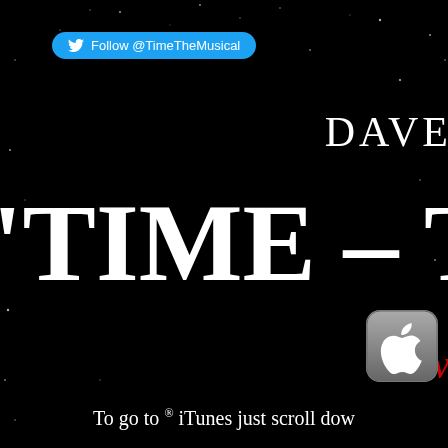[Figure (screenshot): Dark starfield background with scattered white star dots on black sky]
Follow @TimeTheMusical
DAVE
'TIME – TH
Now
[Figure (logo): Apple/iTunes logo badge — grey rounded square with Apple logo]
To go to ® iTunes just scroll dow